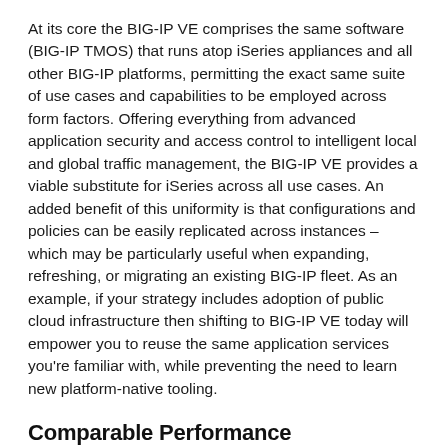At its core the BIG-IP VE comprises the same software (BIG-IP TMOS) that runs atop iSeries appliances and all other BIG-IP platforms, permitting the exact same suite of use cases and capabilities to be employed across form factors. Offering everything from advanced application security and access control to intelligent local and global traffic management, the BIG-IP VE provides a viable substitute for iSeries across all use cases. An added benefit of this uniformity is that configurations and policies can be easily replicated across instances – which may be particularly useful when expanding, refreshing, or migrating an existing BIG-IP fleet. As an example, if your strategy includes adoption of public cloud infrastructure then shifting to BIG-IP VE today will empower you to reuse the same application services you're familiar with, while preventing the need to learn new platform-native tooling.
Comparable Performance
There remains the common misconception that BIG-IP Virtual